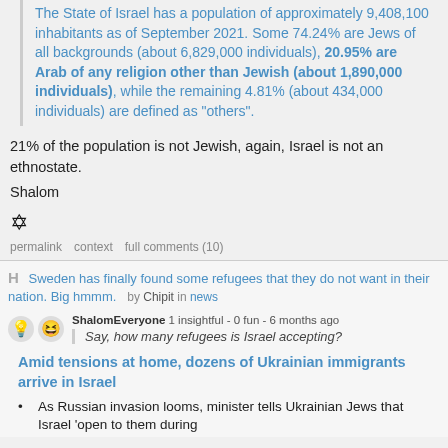The State of Israel has a population of approximately 9,408,100 inhabitants as of September 2021. Some 74.24% are Jews of all backgrounds (about 6,829,000 individuals), 20.95% are Arab of any religion other than Jewish (about 1,890,000 individuals), while the remaining 4.81% (about 434,000 individuals) are defined as "others".
21% of the population is not Jewish, again, Israel is not an ethnostate.
Shalom
✡
permalink   context   full comments (10)
Sweden has finally found some refugees that they do not want in their nation. Big hmmm.   by Chipit in news
ShalomEveryone 1 insightful - 0 fun - 6 months ago
Say, how many refugees is Israel accepting?
Amid tensions at home, dozens of Ukrainian immigrants arrive in Israel
As Russian invasion looms, minister tells Ukrainian Jews that Israel 'open to them during